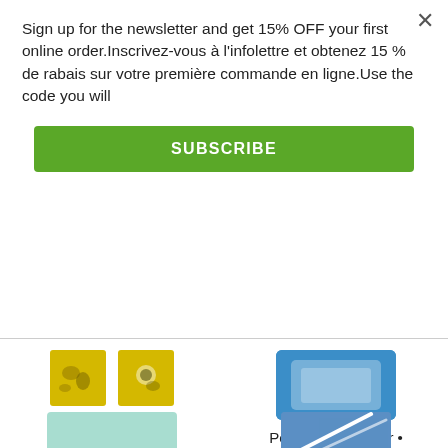Sign up for the newsletter and get 15% OFF your first online order.Inscrivez-vous à l'infolettre et obtenez 15 % de rabais sur votre première commande en ligne.Use the code you will
×
SUBSCRIBE
[Figure (photo): Two yellow product image thumbnails showing illustrated patterns]
Mallorie Brack • Collection
de $5.99
[Figure (photo): Blue product box partially visible on right side]
Pelican - Campeur • Petit essuie-tout réutilisable et compostable
$5.99
[Figure (photo): Partial teal/light green product image at bottom left]
[Figure (photo): Partial blue product image at bottom right]